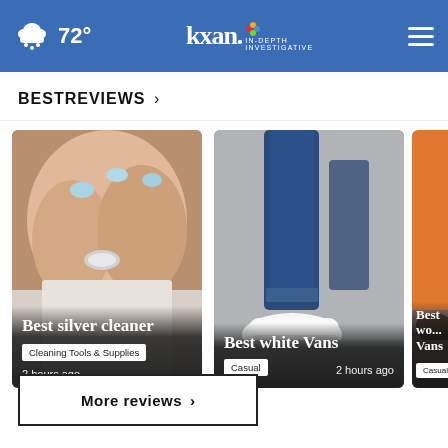☁ 72° | KXAN IN-DEPTH INVESTIGATIVE
BESTREVIEWS ›
[Figure (photo): Close-up of hands with light blue nails cleaning silver jewelry. Card titled 'Best silver cleaner', badge 'Cleaning Tools & Supplies', '2 hours ago']
[Figure (photo): Person's legs in jeans and white Vans sneakers walking on pavement. Card titled 'Best white Vans', badge 'Casual', '2 hours ago']
[Figure (photo): Partial card showing person with shoe. Card titled 'Best wo... Vans', badge 'Casual']
More reviews ›